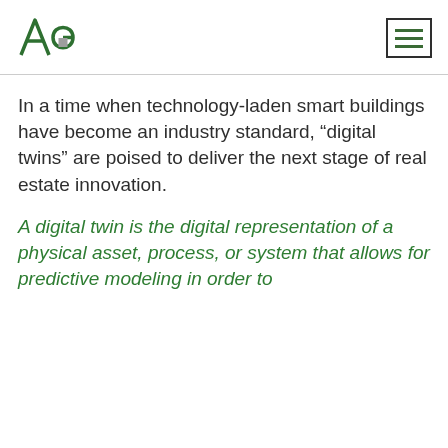AG logo and hamburger menu
In a time when technology-laden smart buildings have become an industry standard, “digital twins” are poised to deliver the next stage of real estate innovation.
A digital twin is the digital representation of a physical asset, process, or system that allows for predictive modeling in order to